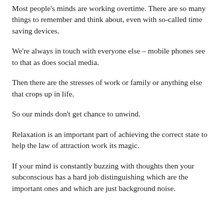Most people's minds are working overtime. There are so many things to remember and think about, even with so-called time saving devices.
We're always in touch with everyone else – mobile phones see to that as does social media.
Then there are the stresses of work or family or anything else that crops up in life.
So our minds don't get chance to unwind.
Relaxation is an important part of achieving the correct state to help the law of attraction work its magic.
If your mind is constantly buzzing with thoughts then your subconscious has a hard job distinguishing which are the important ones and which are just background noise.